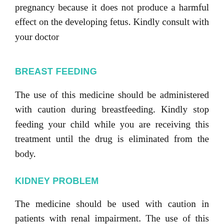pregnancy because it does not produce a harmful effect on the developing fetus. Kindly consult with your doctor
BREAST FEEDING
The use of this medicine should be administered with caution during breastfeeding. Kindly stop feeding your child while you are receiving this treatment until the drug is eliminated from the body.
KIDNEY PROBLEM
The medicine should be used with caution in patients with renal impairment. The use of this medicine required dose modification. Kindly